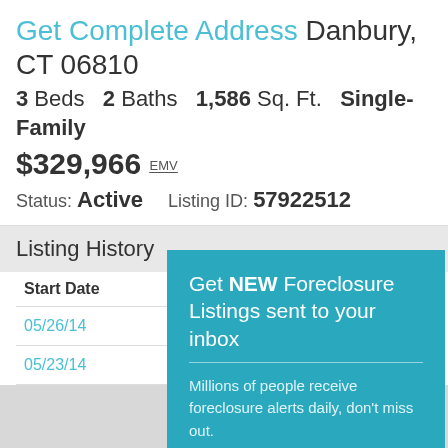Get Complete Address Danbury, CT 06810
3 Beds  2 Baths  1,586 Sq. Ft.  Single-Family
$329,966 EMV
Status: Active    Listing ID: 57922512
Listing History
| Start Date | End |
| --- | --- |
| 05/26/14 | 06/ |
| 05/23/14 | 06/ |
Get NEW Foreclosure Listings sent to your inbox
Millions of people receive foreclosure alerts daily, don't miss out.
Signup Here
No Thanks | Remind Me Later